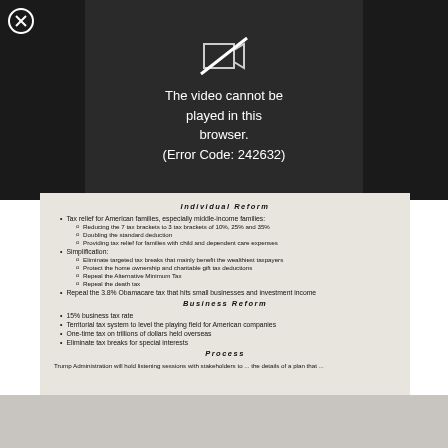[Figure (screenshot): Video player error overlay showing 'The video cannot be played in this browser. (Error Code: 242632)' on black background with close button]
Individual Reform
Tax relief for American families, especially middle-income families:
Reducing the 7 tax brackets to 3 tax brackets of 10%, 25% and 35%
Doubling the standard deduction
Providing tax relief for families with child and dependent care expenses
Simplification:
Eliminate targeted tax breaks that mainly benefit the wealthiest taxpayers
Protect the home ownership and charitable gift tax deductions
Repeal the Alternative Minimum Tax
Repeal the death tax
Repeal the 3.8% Obamacare tax that hits small businesses and investment income
Business Reform
15% business tax rate
Territorial tax system to level the playing field for American companies
One-time tax on trillions of dollars held overseas
Eliminate tax breaks for special interests
Process
Trump Administration will hold listening sessions with stakeholders to ... the details of a plan that ...